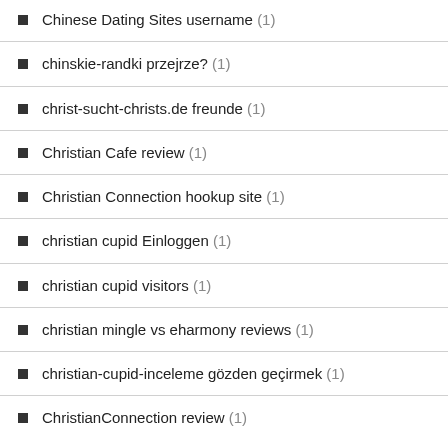Chinese Dating Sites username (1)
chinskie-randki przejrze? (1)
christ-sucht-christs.de freunde (1)
Christian Cafe review (1)
Christian Connection hookup site (1)
christian cupid Einloggen (1)
christian cupid visitors (1)
christian mingle vs eharmony reviews (1)
christian-cupid-inceleme gözden geçirmek (1)
ChristianConnection review (1)